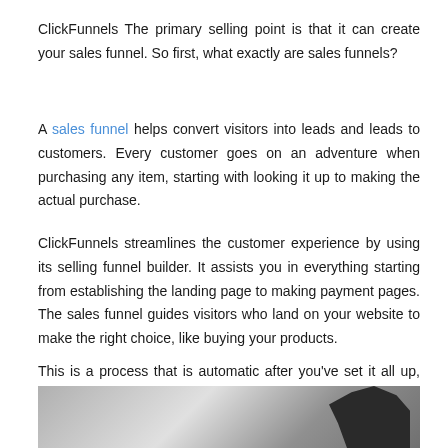ClickFunnels The primary selling point is that it can create your sales funnel. So first, what exactly are sales funnels?
A sales funnel helps convert visitors into leads and leads to customers. Every customer goes on an adventure when purchasing any item, starting with looking it up to making the actual purchase.
ClickFunnels streamlines the customer experience by using its selling funnel builder. It assists you in everything starting from establishing the landing page to making payment pages. The sales funnel guides visitors who land on your website to make the right choice, like buying your products.
This is a process that is automatic after you’ve set it all up, you don’t have to worry about anything else this frees you up to concentrate on other aspects in your enterprise.
[Figure (photo): Partial image showing a person with dark hair against a light/grey background, cropped at bottom of page]